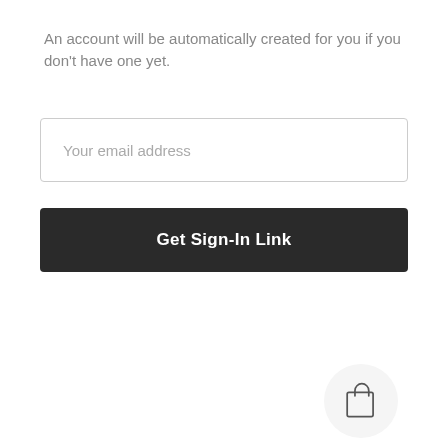An account will be automatically created for you if you don't have one yet.
[Figure (screenshot): Email address input field with placeholder text 'Your email address']
[Figure (screenshot): Dark button labeled 'Get Sign-In Link']
[Figure (infographic): Four navigation icons in a 2x2 grid: My Account (user icon), Track Orders (clipboard with checkmark), Favorites (heart icon), Shopping Bag (shopping bag icon). A floating circle with shopping bag icon overlaps bottom right.]